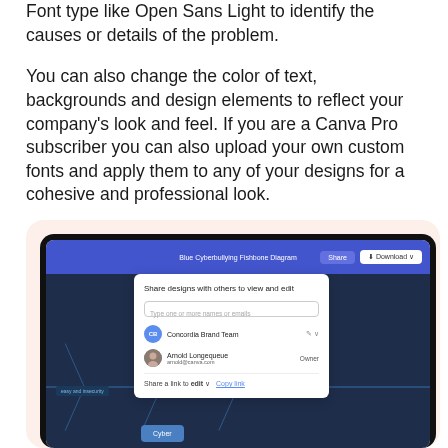Font type like Open Sans Light to identify the causes or details of the problem.
You can also change the color of text, backgrounds and design elements to reflect your company's look and feel. If you are a Canva Pro subscriber you can also upload your own custom fonts and apply them to any of your designs for a cohesive and professional look.
[Figure (screenshot): Screenshot of a Canva interface showing a sharing dialog for a 'Blue Cyberbullying Fishbone Diagram' design. The dialog shows options to share with others, an input field for names or emails, a 'Concordia Brand Team' user with an edit icon, and 'Arnold Longequeue (arnold@canva.com)' listed as Owner. A 'Share a link to edit' option with a 'Copy link' button is shown at the bottom. Behind the dialog is a dark blue fishbone diagram canvas.]